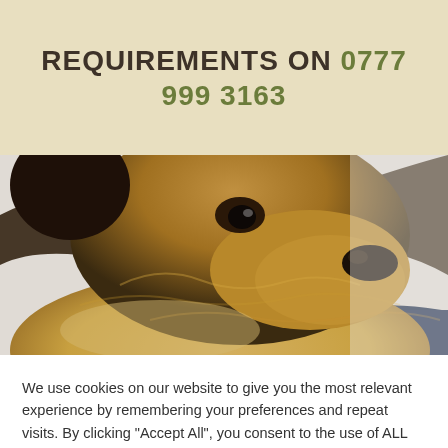REQUIREMENTS ON 0777 999 3163
[Figure (photo): Close-up photo of a German Shepherd dog resting its head down, with tan and black fur, lying on a dark blanket against a light background]
We use cookies on our website to give you the most relevant experience by remembering your preferences and repeat visits. By clicking “Accept All”, you consent to the use of ALL the cookies.
Cookie Settings | Accept All